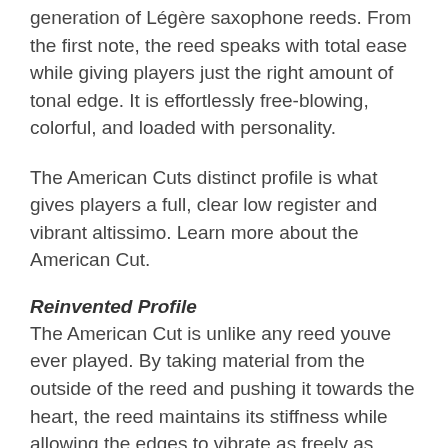generation of Légère saxophone reeds. From the first note, the reed speaks with total ease while giving players just the right amount of tonal edge. It is effortlessly free-blowing, colorful, and loaded with personality.
The American Cuts distinct profile is what gives players a full, clear low register and vibrant altissimo. Learn more about the American Cut.
Reinvented Profile
The American Cut is unlike any reed youve ever played. By taking material from the outside of the reed and pushing it towards the heart, the reed maintains its stiffness while allowing the edges to vibrate as freely as possible. This change creates a sharp spine through the